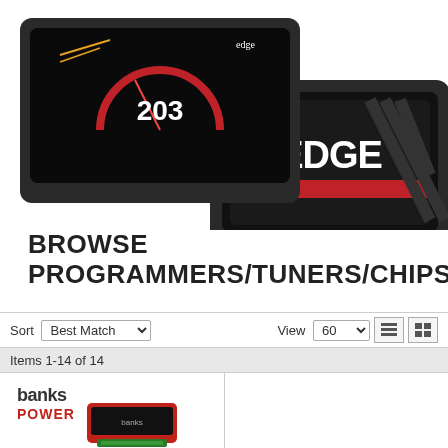[Figure (photo): Product photo of Edge programmers/tuners: a touchscreen display showing '203' and a black device with the EDGE logo on it, on white background]
BROWSE PROGRAMMERS/TUNERS/CHIPS
Sort Best Match  View 60
Items 1-14 of 14
[Figure (photo): Banks Power logo and a red/black Banks tuner device product image]